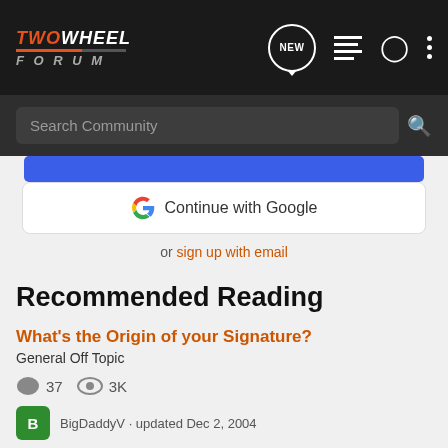TWOWHEEL FORUM
Search Community
Continue with Google
or sign up with email
Recommended Reading
What's the Origin of your Signature?
General Off Topic
37  3K
BigDaddyV · updated Dec 2, 2004